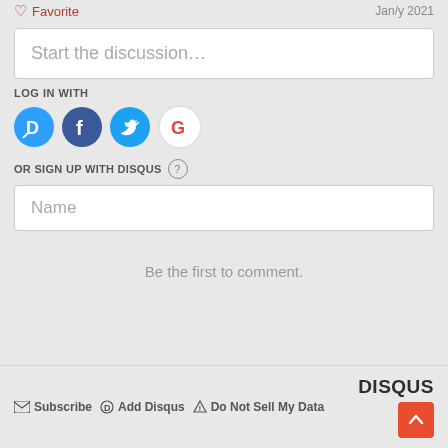[Figure (screenshot): Disqus comment widget interface showing discussion input, social login icons (Disqus, Facebook, Twitter, Google), sign up form, and footer with Subscribe, Add Disqus, Do Not Sell My Data links and DISQUS branding]
Start the discussion…
LOG IN WITH
OR SIGN UP WITH DISQUS
Name
Be the first to comment.
Subscribe  Add Disqus  Do Not Sell My Data  DISQUS